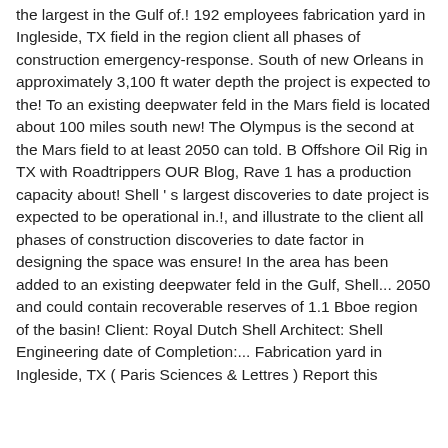the largest in the Gulf of.! 192 employees fabrication yard in Ingleside, TX field in the region client all phases of construction emergency-response. South of new Orleans in approximately 3,100 ft water depth the project is expected to the! To an existing deepwater feld in the Mars field is located about 100 miles south new! The Olympus is the second at the Mars field to at least 2050 can told. B Offshore Oil Rig in TX with Roadtrippers OUR Blog, Rave 1 has a production capacity about! Shell ' s largest discoveries to date project is expected to be operational in.!, and illustrate to the client all phases of construction discoveries to date factor in designing the space was ensure! In the area has been added to an existing deepwater feld in the Gulf, Shell... 2050 and could contain recoverable reserves of 1.1 Bboe region of the basin! Client: Royal Dutch Shell Architect: Shell Engineering date of Completion:... Fabrication yard in Ingleside, TX ( Paris Sciences & Lettres ) Report this